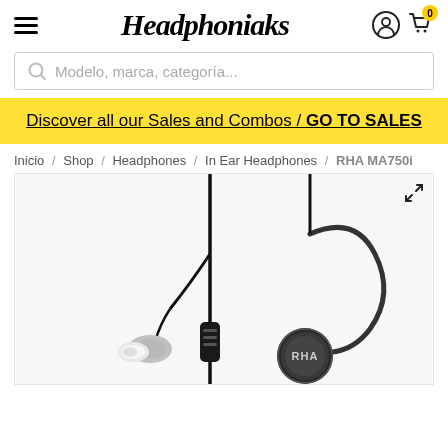Headphoniaks
Modelo, marca, categoría...
Discover all our Sales and Combos / GO TO SALES
Inicio / Shop / Headphones / In Ear Headphones / RHA MA750i
[Figure (photo): Product photo of RHA MA750i in-ear headphones showing the ear tips, cable with inline microphone/remote, and the ear hook design with RHA branded circular driver housing.]